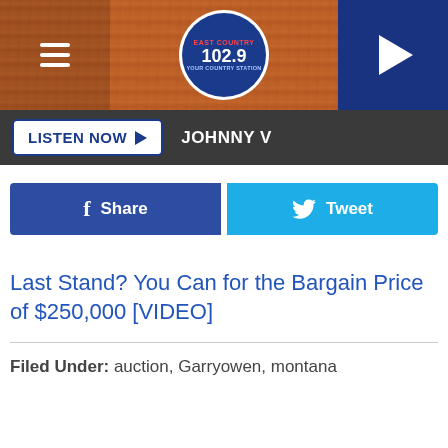[Figure (screenshot): Website header banner with wood-texture background in orange/brown, hamburger menu icon on left, East Country 102.9 radio station circular logo in center, and dark blue play button on right]
LISTEN NOW ▶  JOHNNY V
[Figure (screenshot): Facebook Share button (dark blue) and Twitter Tweet button (light blue)]
Last Stand? You Can for the Bargain Price of $250,000 [VIDEO]
Filed Under: auction, Garryowen, montana